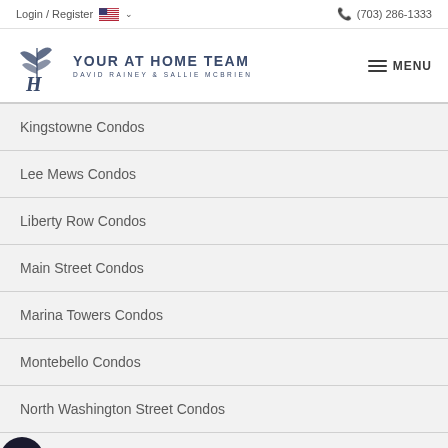Login / Register  🇺🇸 ∨  (703) 286-1333
[Figure (logo): Your At Home Team logo with stylized initials and text 'YOUR AT HOME TEAM / DAVID RAINEY & SALLIE MCBRIEN']
Kingstowne Condos
Lee Mews Condos
Liberty Row Condos
Main Street Condos
Marina Towers Condos
Montebello Condos
North Washington Street Condos
Oakland Hall Condos